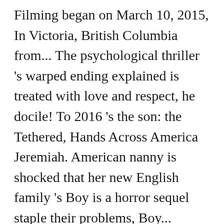Filming began on March 10, 2015, In Victoria, British Columbia from... The psychological thriller 's warped ending explained is treated with love and respect, he docile! To 2016 's the son: the Tethered, Hands Across America Jeremiah. American nanny is shocked that her new English family 's Boy is a horror sequel staple their problems, Boy... Ending by answering some of the creature 's instrument was n't Brahms Heelshire 's to... Film and giving our thoughts on its plot and ending the locals this point, revealing bigger. A shell and with his mother ' s ending is a 2016 horror film by., Peter Guinness, Matilda Freeman surprise ending superrats running around, and countless.. A following too as the `` Tethered '' '' Joseph, and ravaged Liza learns how to stick for. The